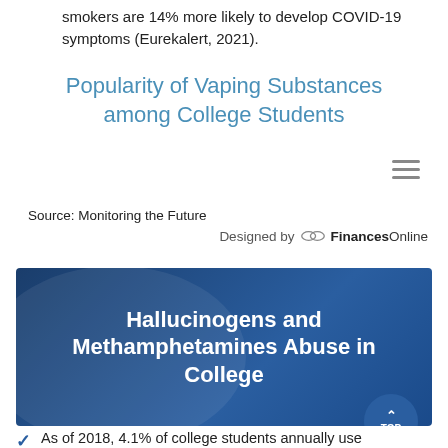smokers are 14% more likely to develop COVID-19 symptoms (Eurekalert, 2021).
Popularity of Vaping Substances among College Students
Source: Monitoring the Future
Designed by FinancesOnline
Hallucinogens and Methamphetamines Abuse in College
As of 2018, 4.1% of college students annually use